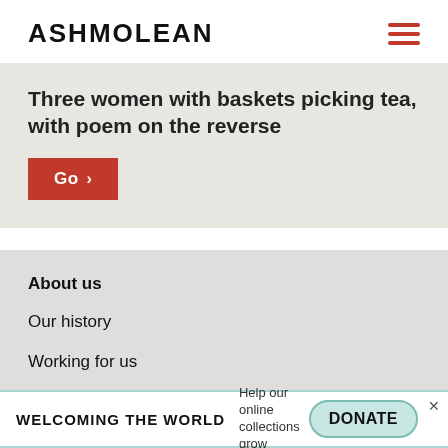ASHMOLEAN
Three women with baskets picking tea, with poem on the reverse
Go >
About us
Our history
Working for us
Press
WELCOMING THE WORLD   Help our online collections grow   DONATE